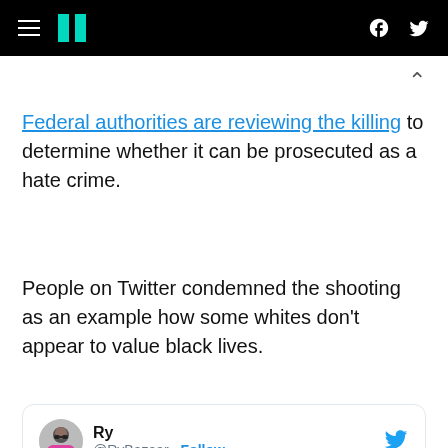HuffPost navigation bar with hamburger menu, logo, Facebook and Twitter icons
Federal authorities are reviewing the killing to determine whether it can be prosecuted as a hate crime.
People on Twitter condemned the shooting as an example how some whites don't appear to value black lives.
[Figure (screenshot): Embedded tweet from @RyBazaar (Ry) with text: THIS IS WHY WE SAY BLACK LIVES MATTER. BECAUSE SO MANY — with Follow button and Twitter bird icon]